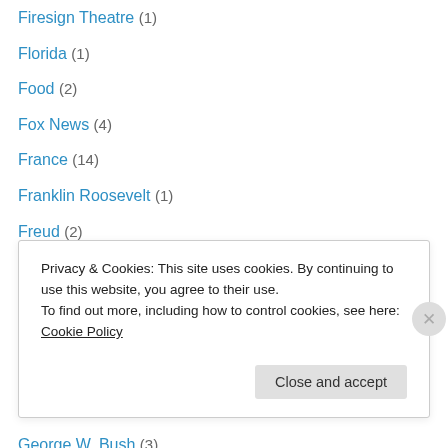Firesign Theatre (1)
Florida (1)
Food (2)
Fox News (4)
France (14)
Franklin Roosevelt (1)
Freud (2)
Fritz Lang (2)
Fukushima (1)
Gandhi (1)
Gaza (2)
George Lucas (1)
George W. Bush (3)
George Washington (1)
Privacy & Cookies: This site uses cookies. By continuing to use this website, you agree to their use. To find out more, including how to control cookies, see here: Cookie Policy
Close and accept